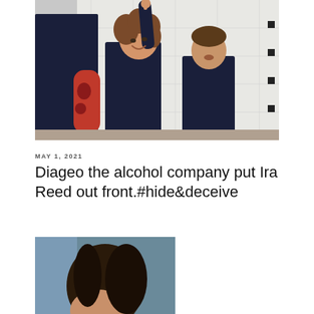[Figure (photo): Three people in dark uniforms in a room with a white board. A woman with curly hair is raising her hand enthusiastically. A man stands behind her. A person with red tattoo sleeves is visible on the left.]
MAY 1, 2021
Diageo the alcohol company put Ira Reed out front.#hide&deceive
[Figure (photo): Partial photo of a person with dark hair, appears to be indoors near a window.]